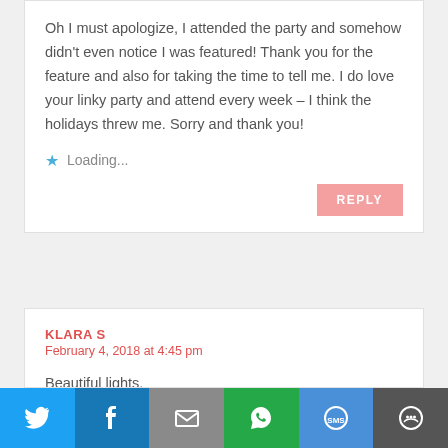Oh I must apologize, I attended the party and somehow didn't even notice I was featured! Thank you for the feature and also for taking the time to tell me. I do love your linky party and attend every week – I think the holidays threw me. Sorry and thank you!
Loading...
REPLY
KLARA S
February 4, 2018 at 4:45 pm
Beautiful lights.